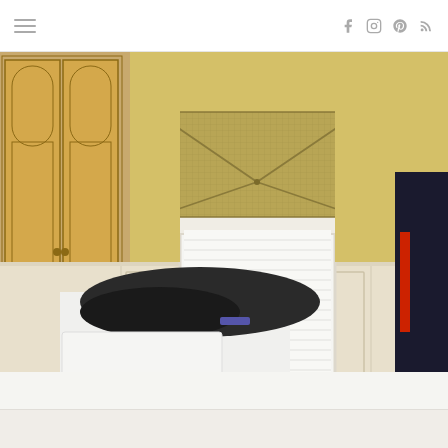Navigation menu and social icons (Facebook, Instagram, Pinterest, RSS)
[Figure (photo): Interior laundry room photo showing a window with white horizontal blinds topped by a decorative fabric valance in an envelope/letter shape with a checked tan/khaki pattern. Yellow painted walls above cream wainscoting panels. Oak kitchen cabinets visible on the left. White folding table/ironing board with dark laundry clothes piled on top. A dark jacket hanging on the right. Lower portion shows a white countertop.]